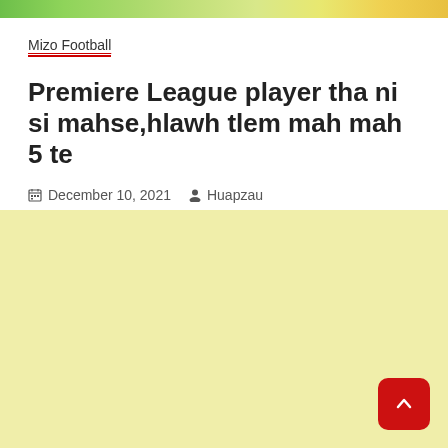[Figure (photo): Top image banner strip showing a football/soccer related image, cropped to a thin bar at the top of the page]
Mizo Football
Premiere League player tha ni si mahse,hlawh tlem mah mah 5 te
December 10, 2021   Huapzau
[Figure (other): Yellow/cream colored advertisement or content area placeholder]